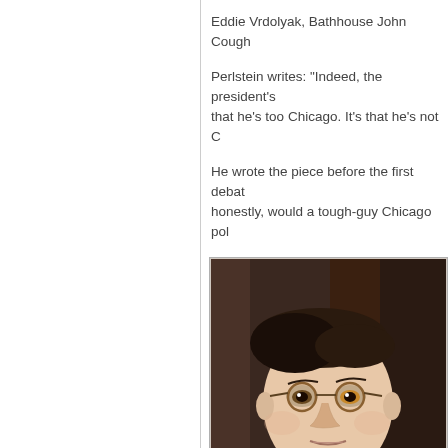Eddie Vrdolyak, Bathhouse John Cough
Perlstein writes: “Indeed, the president’s that he’s too Chicago. It’s that he’s not C
He wrote the piece before the first debat honestly, would a tough-guy Chicago pol
[Figure (photo): A man wearing round-framed glasses and a dark suit jacket with a white shirt, looking slightly to the side, photographed indoors against a dark curtain background.]